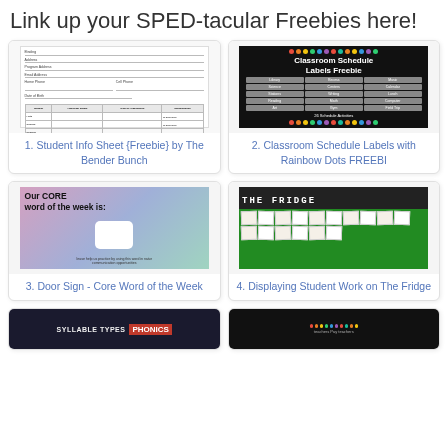Link up your SPED-tacular Freebies here!
[Figure (screenshot): Student info sheet form with fields for name, address, phone, date of birth, and a table for student schedule]
1. Student Info Sheet {Freebie} by The Bender Bunch
[Figure (screenshot): Classroom Schedule Labels with Rainbow Dots showing 26 schedule activities on a black background]
2. Classroom Schedule Labels with Rainbow Dots FREEBI
[Figure (screenshot): Door sign with colorful watercolor background reading: Our CORE word of the week is: with a blank square, and help us practice by using this word in natural communication opportunities]
3. Door Sign - Core Word of the Week
[Figure (photo): The Fridge bulletin board with student papers posted on green background]
4. Displaying Student Work on The Fridge
[Figure (screenshot): Syllable Types Phonics resource thumbnail]
[Figure (screenshot): Teachers Pay Teachers resource with rainbow dots on black background]